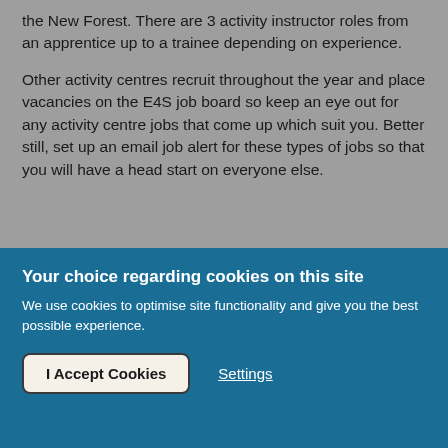the New Forest. There are 3 activity instructor roles from an apprentice up to a trainee depending on experience.
Other activity centres recruit throughout the year and place vacancies on the E4S job board so keep an eye out for any activity centre jobs that come up which suit you. Better still, set up an email job alert for these types of jobs so that you will have a head start on everyone else.
Your choice regarding cookies on this site
We use cookies to optimise site functionality and give you the best possible experience.
I Accept Cookies
Settings